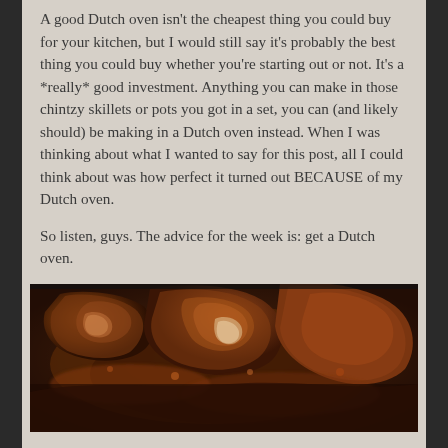A good Dutch oven isn't the cheapest thing you could buy for your kitchen, but I would still say it's probably the best thing you could buy whether you're starting out or not. It's a *really* good investment. Anything you can make in those chintzy skillets or pots you got in a set, you can (and likely should) be making in a Dutch oven instead. When I was thinking about what I wanted to say for this post, all I could think about was how perfect it turned out BECAUSE of my Dutch oven.
So listen, guys. The advice for the week is: get a Dutch oven.
[Figure (photo): Close-up photo of braised meat in a dark, rich sauce inside a Dutch oven, showing browned chunks of meat with glossy sauce.]